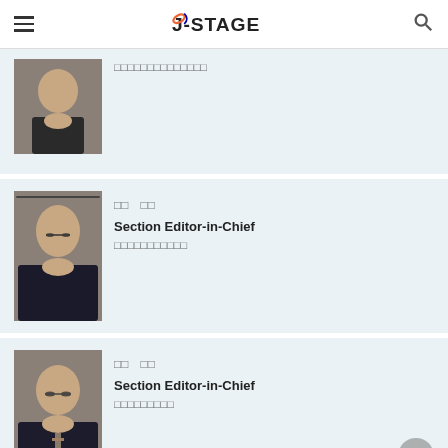J-STAGE
[Figure (photo): Portrait photo of a man with glasses wearing a dark suit, partially visible at top]
□□□□□□□□□□□□□□
[Figure (photo): Portrait photo of a man with glasses wearing a dark turtleneck]
□□ □□
Section Editor-in-Chief
□□□□□□□□□□□
[Figure (photo): Portrait photo of a man with glasses wearing a dark suit with tie]
□□ □□
Section Editor-in-Chief
□□□□□□□□□